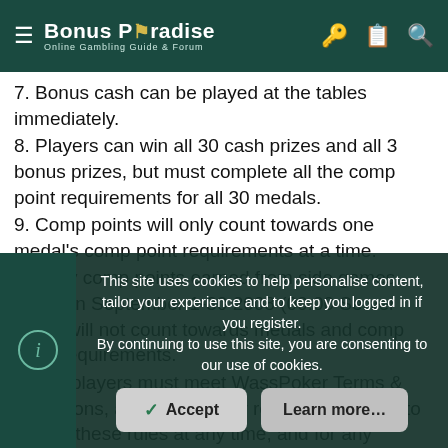Bonus Paradise – Online Gambling Guide & Forum
7. Bonus cash can be played at the tables immediately.
8. Players can win all 30 cash prizes and all 3 bonus prizes, but must complete all the comp point requirements for all 30 medals.
9. Comp points will only count towards one medal's comp point requirements at a time.
10. Any comp points earned from side games between September 1-30 2008 (00:00 Server Time) will not count towards medals and comp point requirements.
11. All players must meet WassPoker Terms & Conditions, and WassPoker reserves the right to modify these rules at any time, and for any reason, at its sole discretion.
12. A Breach of the Terms will result in instant removal from the Promotion
This site uses cookies to help personalise content, tailor your experience and to keep you logged in if you register. By continuing to use this site, you are consenting to our use of cookies.